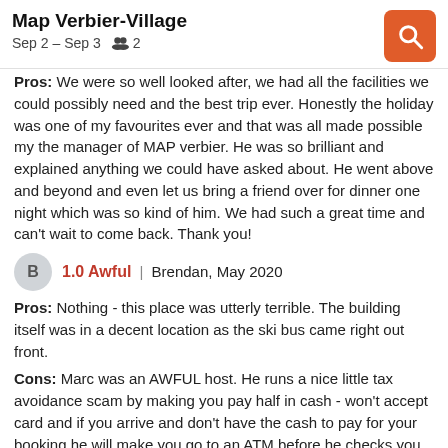Map Verbier-Village
Sep 2 – Sep 3   2
Pros: We were so well looked after, we had all the facilities we could possibly need and the best trip ever. Honestly the holiday was one of my favourites ever and that was all made possible my the manager of MAP verbier. He was so brilliant and explained anything we could have asked about. He went above and beyond and even let us bring a friend over for dinner one night which was so kind of him. We had such a great time and can't wait to come back. Thank you!
1.0 Awful  |  Brendan, May 2020
Pros: Nothing - this place was utterly terrible. The building itself was in a decent location as the ski bus came right out front.
Cons: Marc was an AWFUL host. He runs a nice little tax avoidance scam by making you pay half in cash - won't accept card and if you arrive and don't have the cash to pay for your booking he will make you go to an ATM before he checks you in. Mark will make you feel utterly shameful if you didn't remember to bring a towel as they do not provide towels apparently. Not sure how many people traveling through